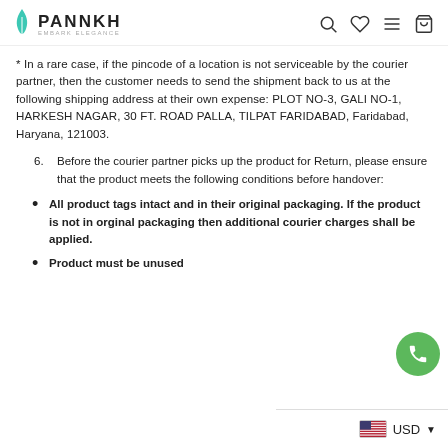PANNKH EMBARK ELEGANCE
* In a rare case, if the pincode of a location is not serviceable by the courier partner, then the customer needs to send the shipment back to us at the following shipping address at their own expense: PLOT NO-3, GALI NO-1, HARKESH NAGAR, 30 FT. ROAD PALLA, TILPAT FARIDABAD, Faridabad, Haryana, 121003.
6. Before the courier partner picks up the product for Return, please ensure that the product meets the following conditions before handover:
All product tags intact and in their original packaging. If the product is not in orginal packaging then additional courier charges shall be applied.
Product must be unused